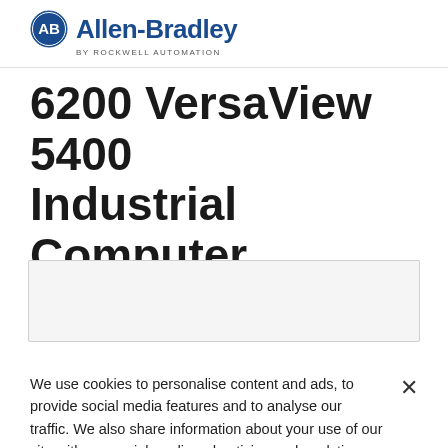[Figure (logo): Allen-Bradley by Rockwell Automation logo — circular AB badge in dark blue on left, bold dark blue 'Allen-Bradley' text, with 'by ROCKWELL AUTOMATION' in small gray uppercase text below]
6200 VersaView 5400 Industrial Computer
[Figure (other): Gray rectangular placeholder box with light border]
We use cookies to personalise content and ads, to provide social media features and to analyse our traffic. We also share information about your use of our site with our social media, advertising and analytics partners.